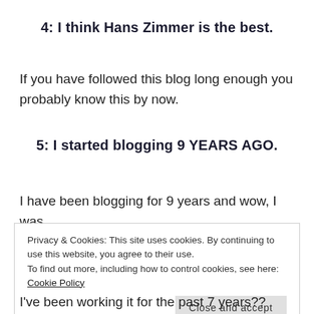4: I think Hans Zimmer is the best.
If you have followed this blog long enough you probably know this by now.
5: I started blogging 9 YEARS AGO.
I have been blogging for 9 years and wow, I was
Privacy & Cookies: This site uses cookies. By continuing to use this website, you agree to their use.
To find out more, including how to control cookies, see here: Cookie Policy
Close and accept
I've been working it for the past 7 years?? (whoa).